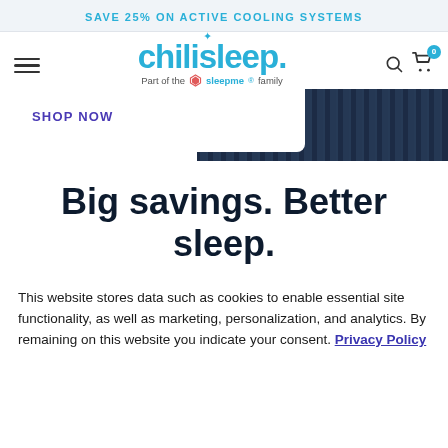SAVE 25% ON ACTIVE COOLING SYSTEMS
[Figure (logo): Chilisleep logo with 'Part of the sleepme family' tagline, hamburger menu, search and cart icons]
SHOP NOW
[Figure (photo): Dark background with vertical fins/slats of an active cooling system]
Big savings. Better sleep.
This website stores data such as cookies to enable essential site functionality, as well as marketing, personalization, and analytics. By remaining on this website you indicate your consent. Privacy Policy